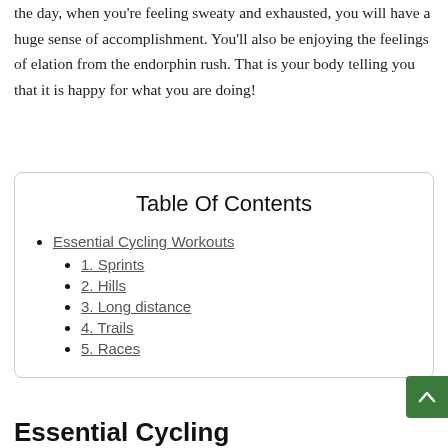the day, when you're feeling sweaty and exhausted, you will have a huge sense of accomplishment. You'll also be enjoying the feelings of elation from the endorphin rush. That is your body telling you that it is happy for what you are doing!
Table Of Contents
Essential Cycling Workouts
1. Sprints
2. Hills
3. Long distance
4. Trails
5. Races
Essential Cycling